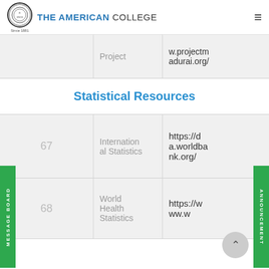THE AMERICAN COLLEGE
| # | Resource | URL |
| --- | --- | --- |
|  | Project | w.projectmadurai.org/ |
| 67 | International Statistics | https://da.worldbank.org/ |
| 68 | World Health Statistics | https://www.w... |
Statistical Resources